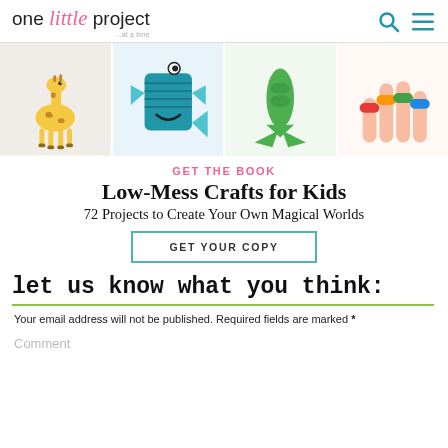one little project ...at a time
[Figure (photo): Four craft project images in a horizontal strip: a giraffe figurine, a blue whale/fish made from a cup, a green mermaid tail, and colorful rings/finger puppets on a child's hand.]
GET THE BOOK
Low-Mess Crafts for Kids
72 Projects to Create Your Own Magical Worlds
GET YOUR COPY
let us know what you think:
Your email address will not be published. Required fields are marked *
Comment